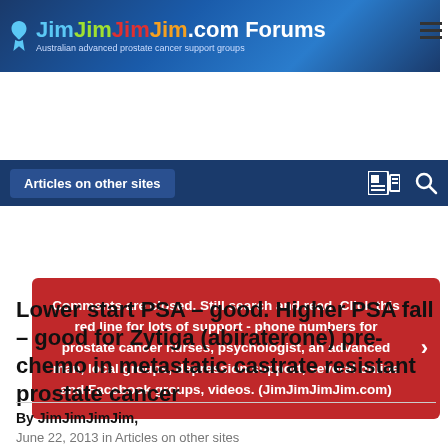JimJimJimJim.com Forums — Australian advanced prostate cancer support groups
Articles on other sites
Comments are closed. Still search and read. Click this red line for lots of support - phone numbers for prostate cancer nurses, psychologist, an advanced man, local groups, depression support, several online and Facebook groups, videos. (JimJimJimJim.com)
Lower start PSA – good. Higher PSA fall – good for Zytiga (abiraterone) pre-chemo in metastatic castrate resistant prostate cancer
By JimJimJimJim,
June 22, 2013 in Articles on other sites